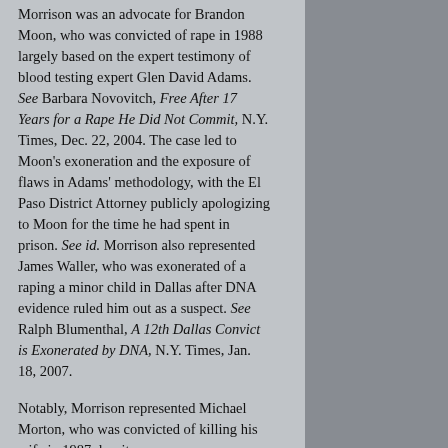Morrison was an advocate for Brandon Moon, who was convicted of rape in 1988 largely based on the expert testimony of blood testing expert Glen David Adams. See Barbara Novovitch, Free After 17 Years for a Rape He Did Not Commit, N.Y. Times, Dec. 22, 2004. The case led to Moon's exoneration and the exposure of flaws in Adams' methodology, with the El Paso District Attorney publicly apologizing to Moon for the time he had spent in prison. See id. Morrison also represented James Waller, who was exonerated of a raping a minor child in Dallas after DNA evidence ruled him out as a suspect. See Ralph Blumenthal, A 12th Dallas Convict is Exonerated by DNA, N.Y. Times, Jan. 18, 2007.
Notably, Morrison represented Michael Morton, who was convicted of killing his wife in 1987 despite